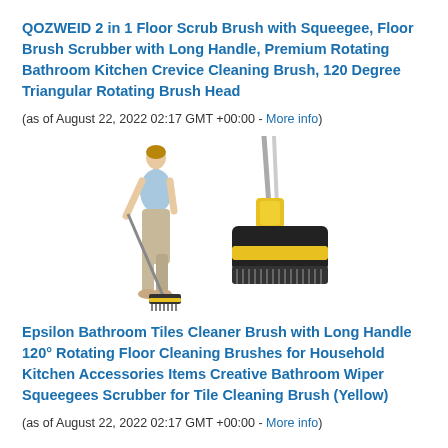QOZWEID 2 in 1 Floor Scrub Brush with Squeegee, Floor Brush Scrubber with Long Handle, Premium Rotating Bathroom Kitchen Crevice Cleaning Brush, 120 Degree Triangular Rotating Brush Head
(as of August 22, 2022 02:17 GMT +00:00 - More info)
[Figure (photo): Product photo showing a woman using a long-handled floor scrub brush, and a close-up of the yellow and black 2-in-1 floor scrub brush with squeegee head.]
Epsilon Bathroom Tiles Cleaner Brush with Long Handle 120° Rotating Floor Cleaning Brushes for Household Kitchen Accessories Items Creative Bathroom Wiper Squeegees Scrubber for Tile Cleaning Brush (Yellow)
(as of August 22, 2022 02:17 GMT +00:00 - More info)